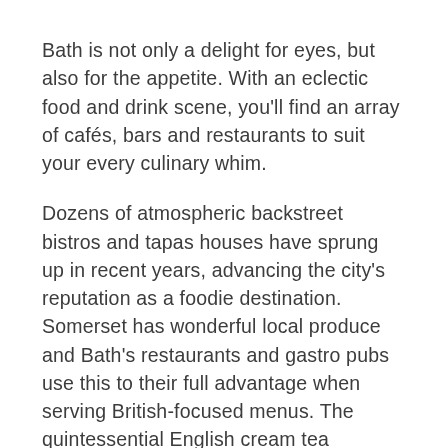Bath is not only a delight for eyes, but also for the appetite. With an eclectic food and drink scene, you'll find an array of cafés, bars and restaurants to suit your every culinary whim.
Dozens of atmospheric backstreet bistros and tapas houses have sprung up in recent years, advancing the city's reputation as a foodie destination. Somerset has wonderful local produce and Bath's restaurants and gastro pubs use this to their full advantage when serving British-focused menus. The quintessential English cream tea experience is a must-do here with every smart hotel offering their own version of this sumptuous cream-and-jam-laden affair. Trendy cafés tucked down cobbled alleyways provide silky smooth home-roasted coffee. And cosy